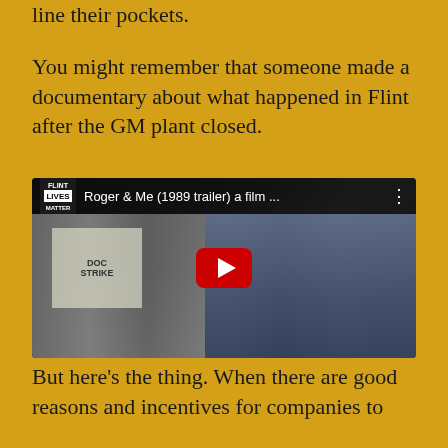line their pockets.
You might remember that someone made a documentary about what happened in Flint after the GM plant closed.
[Figure (screenshot): YouTube video thumbnail showing 'Roger & Me (1989 trailer) a film ...' with Flint Lives Matter logo, red YouTube play button, and a blurred scene of people near a building with signs.]
But here's the thing.  When there are good reasons and incentives for companies to